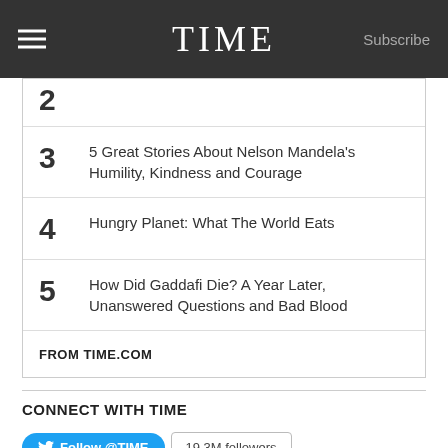TIME  Subscribe
2 [partial]
3 5 Great Stories About Nelson Mandela's Humility, Kindness and Courage
4 Hungry Planet: What The World Eats
5 How Did Gaddafi Die? A Year Later, Unanswered Questions and Bad Blood
FROM TIME.COM
CONNECT WITH TIME
Follow @TIME   19.3M followers
[Figure (logo): Tumblr and LinkedIn social media icons]